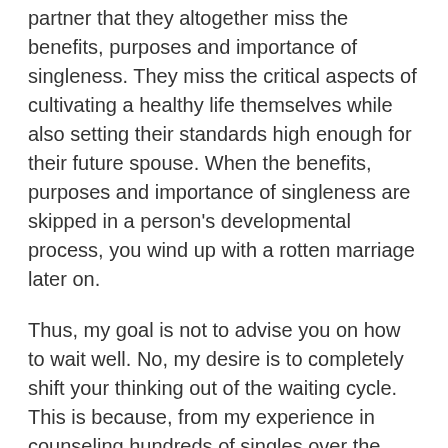partner that they altogether miss the benefits, purposes and importance of singleness. They miss the critical aspects of cultivating a healthy life themselves while also setting their standards high enough for their future spouse. When the benefits, purposes and importance of singleness are skipped in a person's developmental process, you wind up with a rotten marriage later on.
Thus, my goal is not to advise you on how to wait well. No, my desire is to completely shift your thinking out of the waiting cycle. This is because, from my experience in counseling hundreds of singles over the years, emphasizing a “waiting well” mentality leads to a multiplicity of unintended — but very real — consequences.
To encourage someone to live in a posture of waiting